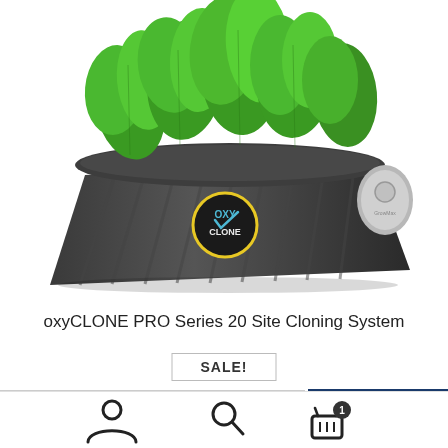[Figure (photo): OxyCLONE PRO Series cloning system — a dark grey ribbed plastic tub with basil/green plant cuttings growing out of the top and the OxyCLONE logo on the side. A silver pump/device is visible on the right side.]
oxyCLONE PRO Series 20 Site Cloning System
SALE!
$124.51  $88.57
SKU: OX20SYS
Add to cart
[Figure (logo): Green leaf icon badge in a white circle on the bottom right]
[Figure (infographic): Bottom navigation bar with user/account icon, search icon, and shopping basket icon with badge showing 1]